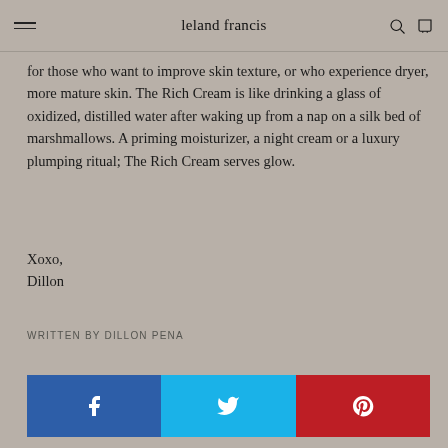leland francis
for those who want to improve skin texture, or who experience dryer, more mature skin. The Rich Cream is like drinking a glass of oxidized, distilled water after waking up from a nap on a silk bed of marshmallows. A priming moisturizer, a night cream or a luxury plumping ritual; The Rich Cream serves glow.
Xoxo,
Dillon
WRITTEN BY DILLON PENA
[Figure (infographic): Social sharing buttons for Facebook (blue), Twitter (cyan), and Pinterest (red), each with their respective icons in white.]